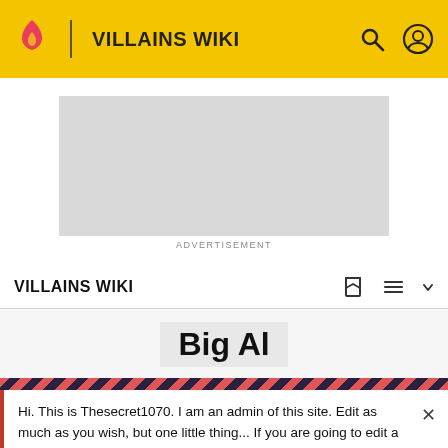VILLAINS WIKI
[Figure (other): Advertisement placeholder — grey rectangle]
ADVERTISEMENT
VILLAINS WIKI
Big Al
Hi. This is Thesecret1070. I am an admin of this site. Edit as much as you wish, but one little thing... If you are going to edit a lot, then make yourself a user and login. Other than that, enjoy Villains Wiki!!!